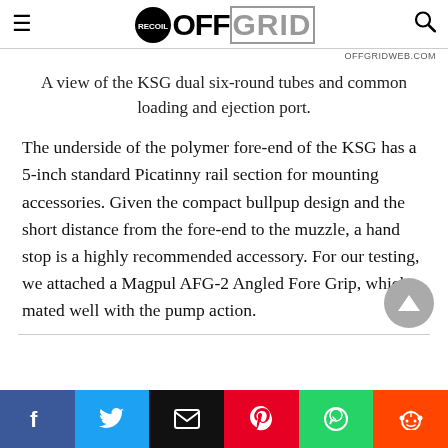RECOIL OFFGRID
A view of the KSG dual six-round tubes and common loading and ejection port.
The underside of the polymer fore-end of the KSG has a 5-inch standard Picatinny rail section for mounting accessories. Given the compact bullpup design and the short distance from the fore-end to the muzzle, a hand stop is a highly recommended accessory. For our testing, we attached a Magpul AFG-2 Angled Fore Grip, which mated well with the pump action.
Facebook Twitter Email Pinterest WhatsApp Reddit social share bar